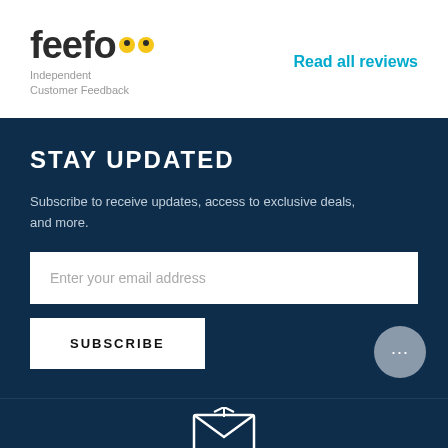[Figure (logo): Feefo logo with yellow eye icons and tagline 'Independent Customer Feedback']
Read all reviews
STAY UPDATED
Subscribe to receive updates, access to exclusive deals, and more.
Enter your email address
SUBSCRIBE
[Figure (illustration): Envelope/email icon in dark blue footer area]